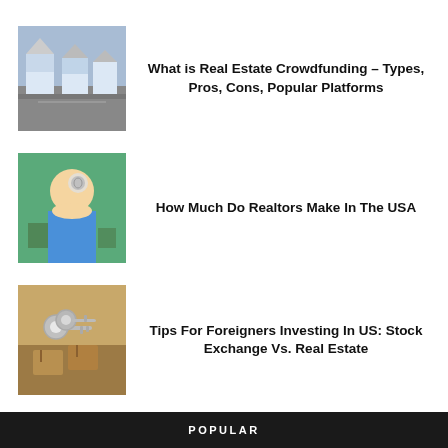[Figure (photo): Aerial or street view of residential houses]
What is Real Estate Crowdfunding – Types, Pros, Cons, Popular Platforms
[Figure (photo): Person holding house keys with colorful keychain]
How Much Do Realtors Make In The USA
[Figure (photo): Keys and small wooden house on table]
Tips For Foreigners Investing In US: Stock Exchange Vs. Real Estate
POPULAR